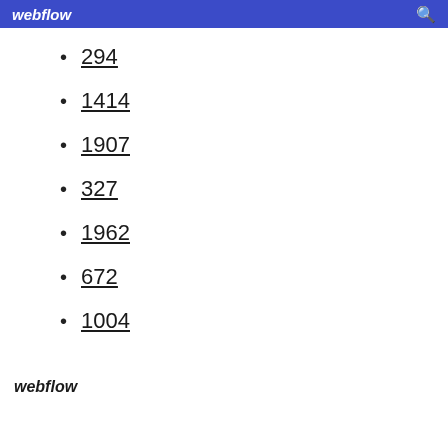webflow
294
1414
1907
327
1962
672
1004
webflow